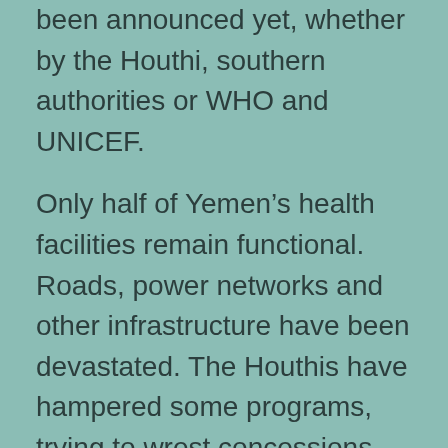been announced yet, whether by the Houthi, southern authorities or WHO and UNICEF.
Only half of Yemen's health facilities remain functional. Roads, power networks and other infrastructure have been devastated. The Houthis have hampered some programs, trying to wrest concessions from U.N. agencies, including blocking a shipment of cholera vaccines amid a 2017 outbreak.
“Even the mildest and normally preventable diseases can prove fatal due to a lack of health care access in a conflict setting,” said Wasim Bahia, the Yemen country director for